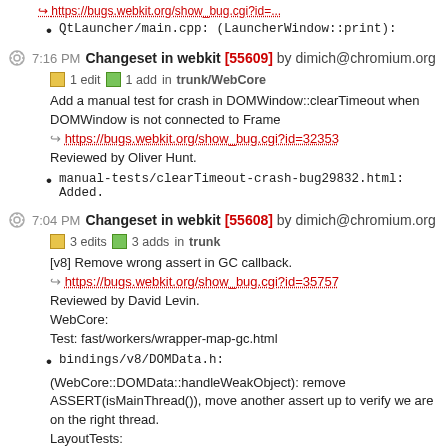https://bugs.webkit.org/show_bug.cgi?id=...
QtLauncher/main.cpp: (LauncherWindow::print):
7:16 PM Changeset in webkit [55609] by dimich@chromium.org
1 edit  1 add  in trunk/WebCore
Add a manual test for crash in DOMWindow::clearTimeout when DOMWindow is not connected to Frame
https://bugs.webkit.org/show_bug.cgi?id=32353
Reviewed by Oliver Hunt.
manual-tests/clearTimeout-crash-bug29832.html: Added.
7:04 PM Changeset in webkit [55608] by dimich@chromium.org
3 edits  3 adds  in trunk
[v8] Remove wrong assert in GC callback.
https://bugs.webkit.org/show_bug.cgi?id=35757
Reviewed by David Levin.
WebCore:
Test: fast/workers/wrapper-map-gc.html
bindings/v8/DOMData.h:
(WebCore::DOMData::handleWeakObject): remove ASSERT(isMainThread()), move another assert up to verify we are on the right thread.
LayoutTests: